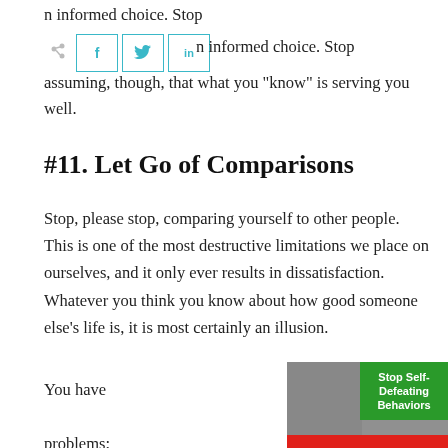n informed choice. Stop assuming, though, that what you “know” is serving you well.
[Figure (other): Social sharing bar with share icon and three social media buttons: Facebook (f), Twitter (bird icon), LinkedIn (in)]
#11. Let Go of Comparisons
Stop, please stop, comparing yourself to other people. This is one of the most destructive limitations we place on ourselves, and it only ever results in dissatisfaction. Whatever you think you know about how good someone else’s life is, it is most certainly an illusion.
You have problems;
[Figure (photo): Photo of a woman with pink and black hair, overlaid with a green banner reading 'Stop Self-Defeating Behaviors' and a red bar at the bottom]